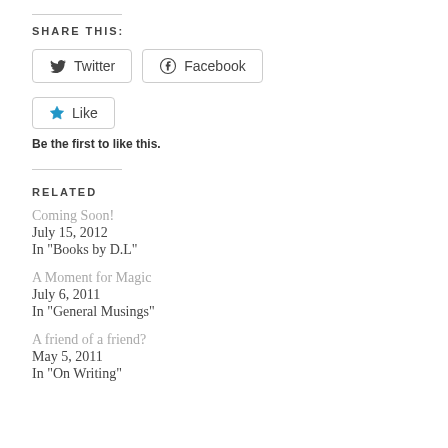SHARE THIS:
Twitter  Facebook
Like
Be the first to like this.
RELATED
Coming Soon!
July 15, 2012
In "Books by D.L"
A Moment for Magic
July 6, 2011
In "General Musings"
A friend of a friend?
May 5, 2011
In "On Writing"